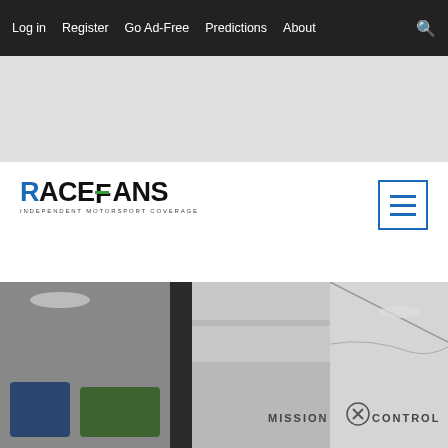Log in   Register   Go Ad-Free   Predictions   About
[Figure (other): Grey advertisement placeholder area]
[Figure (logo): RaceFans - Independent Motorsport Coverage logo in blue and green]
[Figure (other): Hamburger menu icon in blue square border]
[Figure (photo): Interior photo of a motorsport mission control room showing screens and a glass partition with MISSION CONTROL text and X logo]